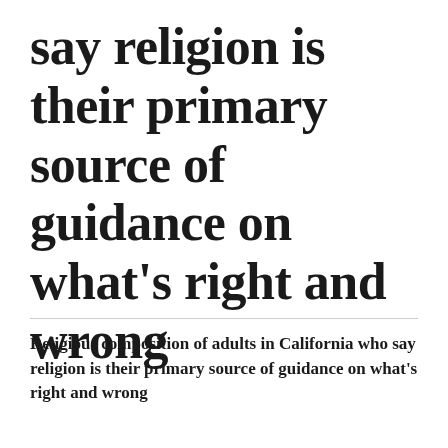say religion is their primary source of guidance on what's right and wrong
Religious composition of adults in California who say religion is their primary source of guidance on what's right and wrong